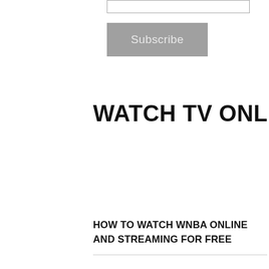[Figure (screenshot): Partially visible input field with gray border at top of page]
Subscribe
WATCH TV ONLINE
HOW TO WATCH WNBA ONLINE AND STREAMING FOR FREE